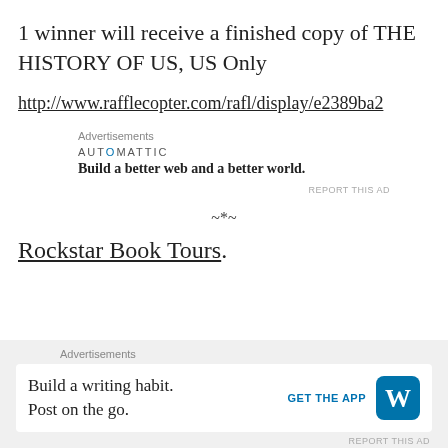1 winner will receive a finished copy of THE HISTORY OF US, US Only
http://www.rafflecopter.com/rafl/display/e2389ba2
Advertisements
[Figure (logo): Automattic logo and tagline: Build a better web and a better world.]
REPORT THIS AD
~*~
Rockstar Book Tours.
Advertisements
[Figure (screenshot): WordPress mobile app ad: Build a writing habit. Post on the go. GET THE APP with WordPress logo.]
REPORT THIS AD